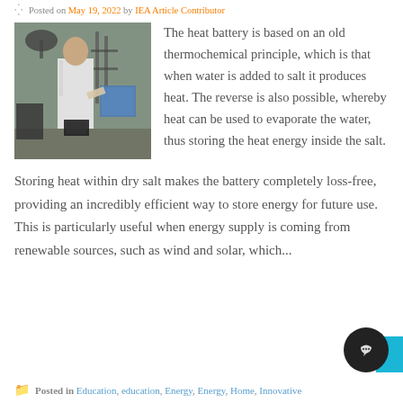Posted on May 19, 2022 by IEA Article Contributor
[Figure (photo): A scientist in a white lab coat standing in a laboratory environment with equipment and machinery visible in the background.]
The heat battery is based on an old thermochemical principle, which is that when water is added to salt it produces heat. The reverse is also possible, whereby heat can be used to evaporate the water, thus storing the heat energy inside the salt.
Storing heat within dry salt makes the battery completely loss-free, providing an incredibly efficient way to store energy for future use. This is particularly useful when energy supply is coming from renewable sources, such as wind and solar, which...
Posted in Education, education, Energy, Energy, Home, Innovative